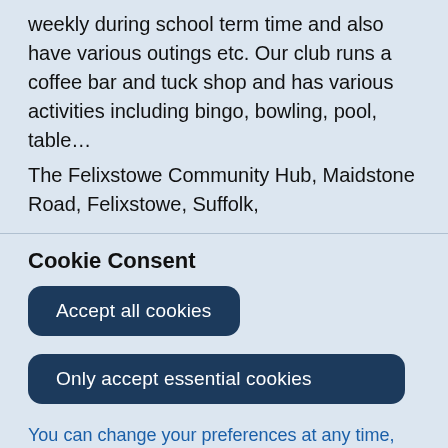weekly during school term time and also have various outings etc. Our club runs a coffee bar and tuck shop and has various activities including bingo, bowling, pool, table…
The Felixstowe Community Hub, Maidstone Road, Felixstowe, Suffolk,
Cookie Consent
Accept all cookies
Only accept essential cookies
You can change your preferences at any time, and you can read more about our cookies before you choose.
Leave Website